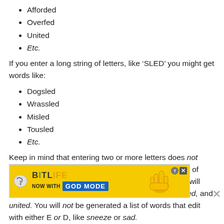Afforded
Overfed
United
Etc.
If you enter a long string of letters, like ‘SLED’ you might get words like:
Dogsled
Wrassled
Misled
Tousled
Etc.
Keep in mind that entering two or more letters does not mean that you will get a list of words ending with one of those letters! For instance, if you enter ‘ED,’ our tool will generate words ending with ‘ED,’ like stunned, overfed, and united. You will not be generated a list of words that edit with either E or D, like sneeze or sad.
Also remember that the longer your string of letters is, the fewer words that end with that string you’ll find. There are almost 5 words that end with SLED.
[Figure (other): BitLife advertisement banner with GOD MODE promotion, including help and close buttons]